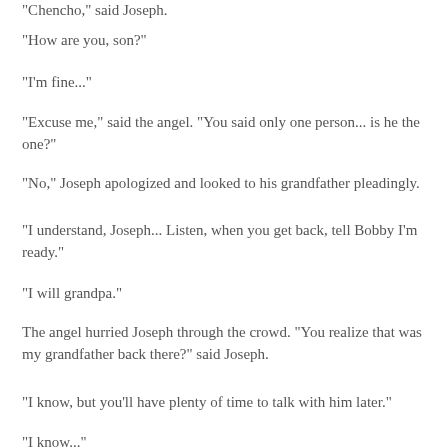"Chencho," said Joseph.
"How are you, son?"
"I'm fine..."
"Excuse me," said the angel. "You said only one person... is he the one?"
"No," Joseph apologized and looked to his grandfather pleadingly.
"I understand, Joseph... Listen, when you get back, tell Bobby I'm ready."
"I will grandpa."
The angel hurried Joseph through the crowd. "You realize that was my grandfather back there?" said Joseph.
"I know, but you'll have plenty of time to talk with him later."
"I know..."